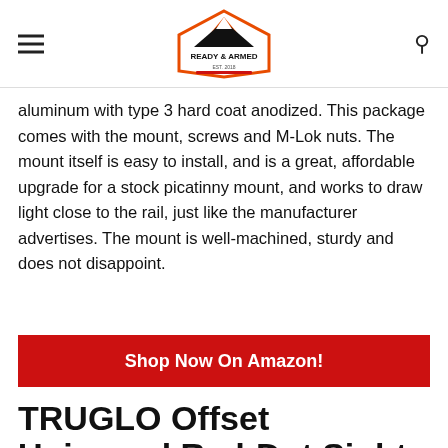READY & ARMED logo with hamburger menu and search icon
aluminum with type 3 hard coat anodized. This package comes with the mount, screws and M-Lok nuts. The mount itself is easy to install, and is a great, affordable upgrade for a stock picatinny mount, and works to draw light close to the rail, just like the manufacturer advertises. The mount is well-machined, sturdy and does not disappoint.
Shop Now On Amazon!
TRUGLO Offset Universal Red-Dot Sight Mount